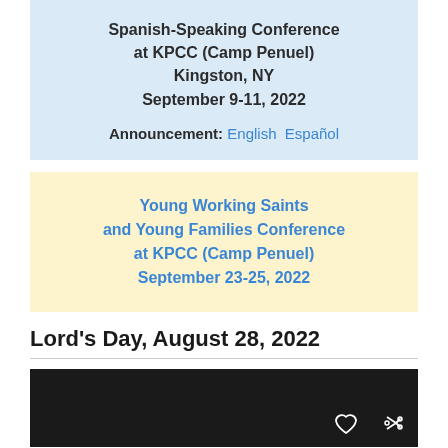Spanish-Speaking Conference at KPCC (Camp Penuel) Kingston, NY September 9-11, 2022
Announcement: English   Español
Young Working Saints and Young Families Conference at KPCC (Camp Penuel) September 23-25, 2022
Lord's Day, August 28, 2022
[Figure (photo): Dark video/image thumbnail with heart and share icons in the bottom right corner]